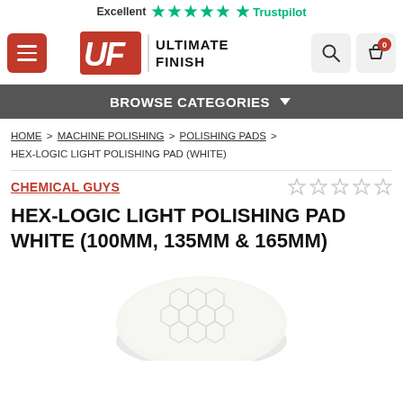Excellent ★★★★★ Trustpilot
[Figure (logo): Ultimate Finish (UF) logo with navigation menu button, search icon, and cart icon showing 0 items]
BROWSE CATEGORIES
HOME > MACHINE POLISHING > POLISHING PADS > HEX-LOGIC LIGHT POLISHING PAD (WHITE)
CHEMICAL GUYS
HEX-LOGIC LIGHT POLISHING PAD WHITE (100MM, 135MM & 165MM)
[Figure (photo): White hex-logic polishing pad with hexagonal pattern texture, viewed from a slight angle]